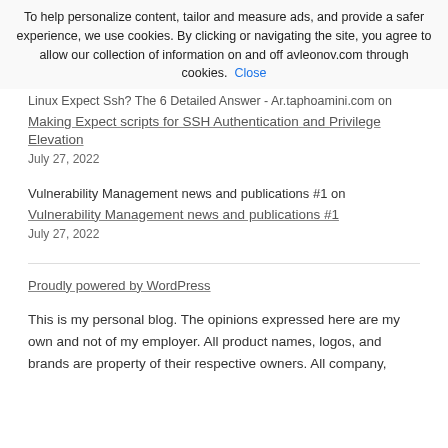To help personalize content, tailor and measure ads, and provide a safer experience, we use cookies. By clicking or navigating the site, you agree to allow our collection of information on and off avleonov.com through cookies. Close
Linux Expect Ssh? The 6 Detailed Answer - Ar.taphoamini.com on
Making Expect scripts for SSH Authentication and Privilege Elevation
July 27, 2022
Vulnerability Management news and publications #1 on
Vulnerability Management news and publications #1
July 27, 2022
Proudly powered by WordPress
This is my personal blog. The opinions expressed here are my own and not of my employer. All product names, logos, and brands are property of their respective owners. All company,